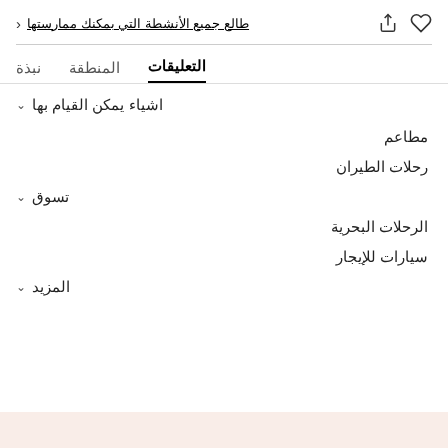طالع جميع الأنشطة التي بمكنك ممارستها
التعليقات | المنطقة | نبذة
اشياء يمكن القيام بها
مطاعم
رحلات الطيران
تسوق
الرحلات البحرية
سيارات للإيجار
المزيد